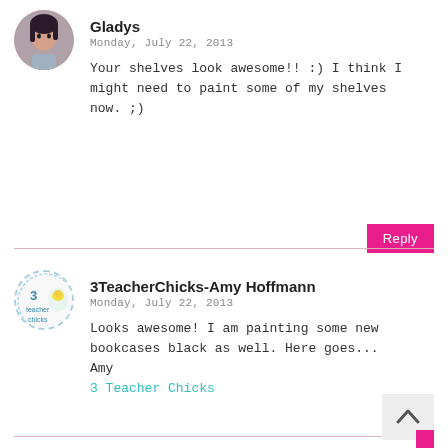[Figure (photo): Circular avatar photo of commenter Gladys, a woman with dark hair]
Gladys
Monday, July 22, 2013
Your shelves look awesome!! :) I think I might need to paint some of my shelves now. ;)
[Figure (other): Reply button, pink/magenta background with white text 'Reply']
[Figure (logo): Circular logo for 3TeacherChicks]
3TeacherChicks-Amy Hoffmann
Monday, July 22, 2013
Looks awesome! I am painting some new bookcases black as well. Here goes...
Amy
3 Teacher Chicks